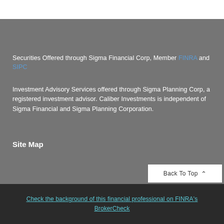Securities Offered through Sigma Financial Corp, Member FINRA and SIPC
Investment Advisory Services offered through Sigma Planning Corp, a registered investment advisor. Caliber Investments is independent of Sigma Financial and Sigma Planning Corporation.
Site Map
Back To Top
Check the background of this financial professional on FINRA's BrokerCheck